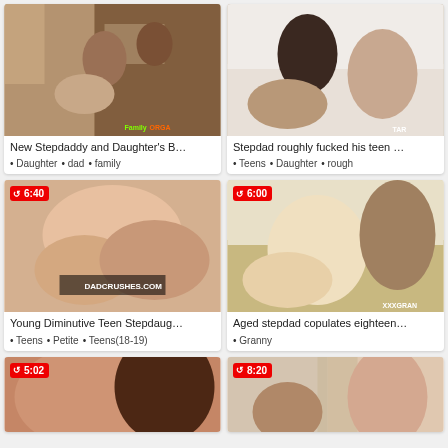[Figure (screenshot): Video thumbnail grid showing adult content video cards with titles and tags]
New Stepdaddy and Daughter's B...
Daughter • dad • family
Stepdad roughly fucked his teen ...
Teens • Daughter • rough
Young Diminutive Teen Stepdaug... | 6:40
Teens • Petite • Teens(18-19)
Aged stepdad copulates eighteen... | 6:00
Granny
5:02
8:20